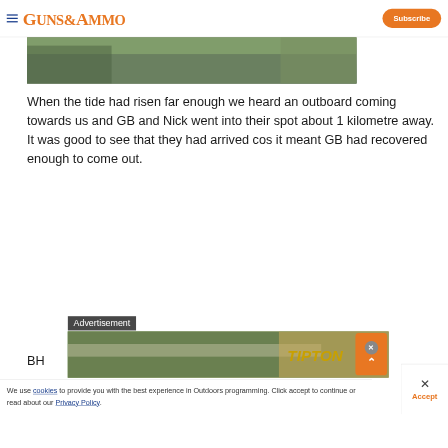Guns & Ammo | Subscribe
[Figure (photo): Partial outdoor/nature photo strip showing trees and foliage at top of page]
When the tide had risen far enough we heard an outboard coming towards us and GB and Nick went into their spot about 1 kilometre away. It was good to see that they had arrived cos it meant GB had recovered enough to come out.
BH
Advertisement
[Figure (photo): Advertisement image showing person with rifle, Tipton branding visible]
We use cookies to provide you with the best experience in Outdoors programming. Click accept to continue or read about our Privacy Policy.